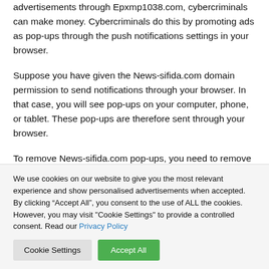advertisements through Epxmp1038.com, cybercriminals can make money. Cybercriminals do this by promoting ads as pop-ups through the push notifications settings in your browser.
Suppose you have given the News-sifida.com domain permission to send notifications through your browser. In that case, you will see pop-ups on your computer, phone, or tablet. These pop-ups are therefore sent through your browser.
To remove News-sifida.com pop-ups, you need to remove the
We use cookies on our website to give you the most relevant experience and show personalised advertisements when accepted. By clicking “Accept All”, you consent to the use of ALL the cookies. However, you may visit "Cookie Settings" to provide a controlled consent. Read our Privacy Policy
Cookie Settings | Accept All